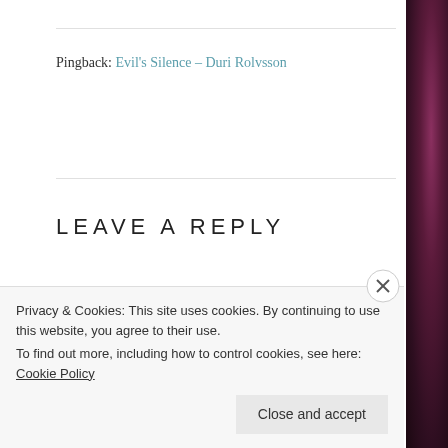Pingback: Evil's Silence – Duri Rolvsson
LEAVE A REPLY
Your email address will not be published. Required fields are marked *
Comment *
Privacy & Cookies: This site uses cookies. By continuing to use this website, you agree to their use. To find out more, including how to control cookies, see here: Cookie Policy
Close and accept